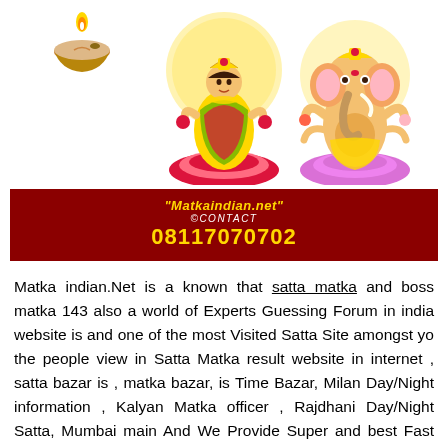[Figure (illustration): Decorative illustration of Hindu deities: a diya oil lamp on the left, Goddess Lakshmi seated on a lotus in the center, and Lord Ganesha on the right, with golden halos and colorful attire.]
"Matkaindian.net" ©CONTACT 08117070702
Matka indian.Net is a known that satta matka and boss matka 143 also a world of Experts Guessing Forum in india website is and one of the most Visited Satta Site amongst yo the people view in Satta Matka result website in internet , satta bazar is , matka bazar, is Time Bazar, Milan Day/Night information , Kalyan Matka officer , Rajdhani Day/Night Satta, Mumbai main And We Provide Super and best Fast and Fastest matka results in the platform Apart From Other Players in Industry Our Content Helps You To Big winsand never loss We Provide Live Updates, Guessing Forum Where Our